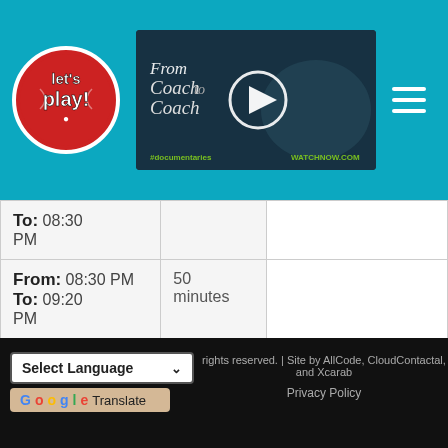[Figure (logo): Let's Play! logo — red circle with white text 'let's play!']
[Figure (screenshot): Video thumbnail showing 'From Coach to Coach' documentary with play button]
|  |  | Activity | Event Type |
| --- | --- | --- | --- |
| To: 08:30 PM |  |  |  |
| From: 08:30 PM  To: 09:20 PM | 50 minutes |  |  |
| From: 09:30 PM  To: 10:30 PM | 60 minutes | Scheduled Event | VERSIN AND FRIENDS |
rights reserved. | Site by AllCode, CloudContactal, and Xcarab
Privacy Policy